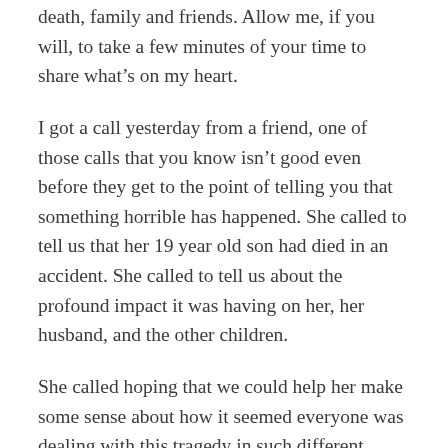death, family and friends. Allow me, if you will, to take a few minutes of your time to share what's on my heart.
I got a call yesterday from a friend, one of those calls that you know isn't good even before they get to the point of telling you that something horrible has happened. She called to tell us that her 19 year old son had died in an accident. She called to tell us about the profound impact it was having on her, her husband, and the other children.
She called hoping that we could help her make some sense about how it seemed everyone was dealing with this tragedy in such different ways. Some withdrawing. Some angry. Some in denial, and all of them with their hearts torn out. It seemed that his death was ripping the family apart just because, while everyone held on to their own